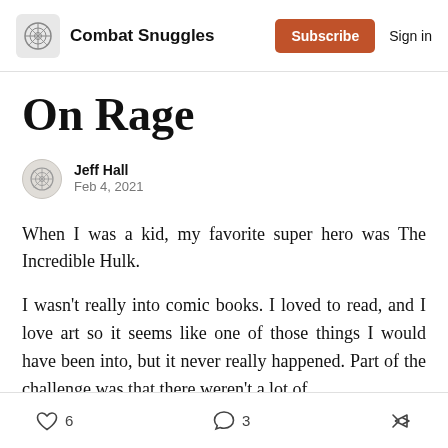Combat Snuggles | Subscribe | Sign in
On Rage
Jeff Hall
Feb 4, 2021
When I was a kid, my favorite super hero was The Incredible Hulk.
I wasn't really into comic books. I loved to read, and I love art so it seems like one of those things I would have been into, but it never really happened. Part of the challenge was that there weren't a lot of
6  3